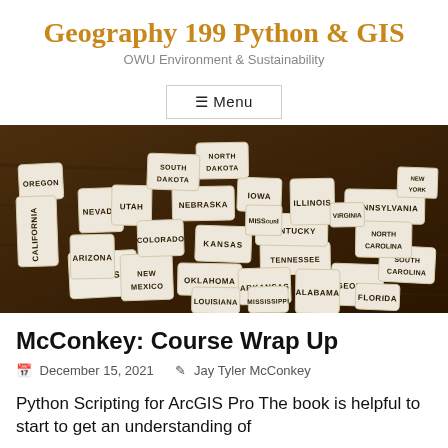Geography 199 Python & GIS
OWU Environment & Sustainability
≡ Menu
[Figure (photo): Ceramic puzzle pieces shaped like US states arranged on a wooden table, each labeled with the state name (e.g., Texas, Kansas, Georgia, Florida, etc.)]
McConkey: Course Wrap Up
December 15, 2021   Jay Tyler McConkey
Python Scripting for ArcGIS Pro The book is helpful to start to get an understanding of